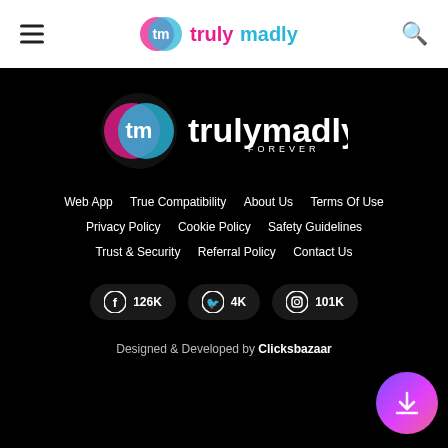trulymadly FOREVER — header with hamburger menu and search icon
[Figure (logo): TrulyMadly FOREVER logo in footer — circular TM icon with pink/blue gradient and white text 'trulymadly FOREVER']
Web App   True Compatibility   About Us   Terms Of Use   Privacy Policy   Cookie Policy   Safety Guidelines   Trust & Security   Referral Policy   Contact Us
[Figure (infographic): Social media buttons: Facebook 126K, Twitter 4K, Instagram 101K]
Designed & Developed by Clicksbazaar
[Figure (illustration): Download button — circular gradient button with download arrow icon]